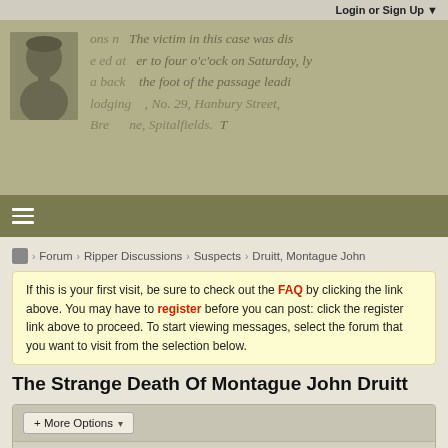Login or Sign Up ▼
[Figure (photo): Hero banner with a sepia-toned portrait photo of a woman overlaid on faded newspaper text about a victim discovered at the foot of a passage in No. 29, Hanbury Street, Spitalfields.]
Forum › Ripper Discussions › Suspects › Druitt, Montague John
If this is your first visit, be sure to check out the FAQ by clicking the link above. You may have to register before you can post: click the register link above to proceed. To start viewing messages, select the forum that you want to visit from the selection below.
The Strange Death Of Montague John Druitt
+ More Options ▼
Filter ▼